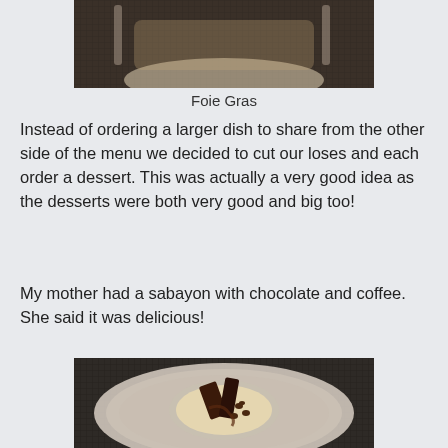[Figure (photo): Top portion of a food photo showing what appears to be a Foie Gras dish on a dark textured placemat]
Foie Gras
Instead of ordering a larger dish to share from the other side of the menu we decided to cut our loses and each order a dessert. This was actually a very good idea as the desserts were both very good and big too!
My mother had a sabayon with chocolate and coffee. She said it was delicious!
[Figure (photo): A sabayon dessert with chocolate and coffee served in a glass bowl, with chocolate pieces and coffee beans, on a dark textured placemat]